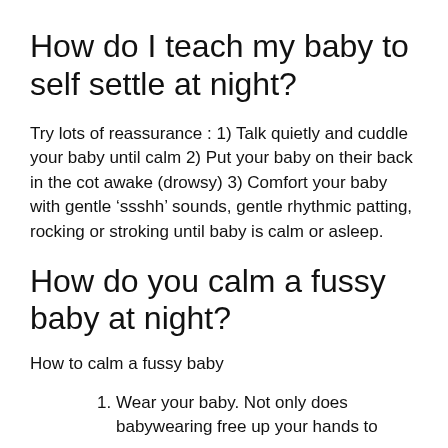How do I teach my baby to self settle at night?
Try lots of reassurance : 1) Talk quietly and cuddle your baby until calm 2) Put your baby on their back in the cot awake (drowsy) 3) Comfort your baby with gentle ‘ssshh’ sounds, gentle rhythmic patting, rocking or stroking until baby is calm or asleep.
How do you calm a fussy baby at night?
How to calm a fussy baby
Wear your baby. Not only does babywearing free up your hands to